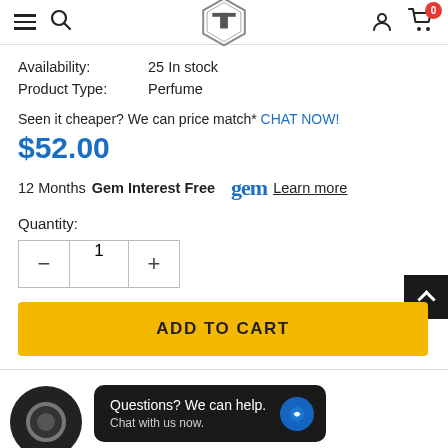TechCrazy store navigation header with hamburger menu, search, logo, user icon, and cart (0 items)
Availability: 25 In stock
Product Type: Perfume
Seen it cheaper? We can price match* CHAT NOW!
$52.00
12 Months Gem Interest Free gem Learn more
Quantity:
ADD TO CART
Questions? We can help. Chat with us now.